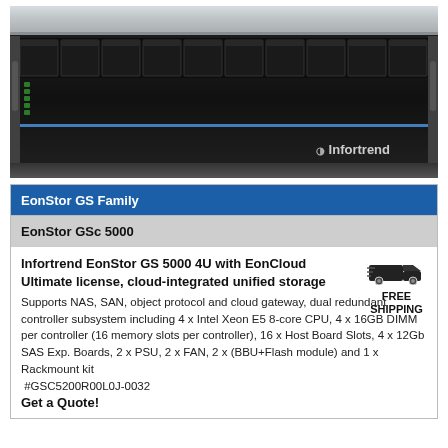[Figure (photo): Infortrend EonStor GS 5000 4U rack-mount storage server, front view, black chassis with drive bays across top, Infortrend logo at bottom right, blue accent stripe]
| EonStor GS Family |
| --- |
| EonStor GSc 5000 |
| Infortrend EonStor GS 5000 4U with EonCloud Ultimate license, cloud-integrated unified storage
Supports NAS, SAN, object protocol and cloud gateway, dual redundant controller subsystem including 4 x Intel Xeon E5 8-core CPU, 4 x 16GB DIMM per controller (16 memory slots per controller), 16 x Host Board Slots, 4 x 12Gb SAS Exp. Boards, 2 x PSU, 2 x FAN, 2 x (BBU+Flash module) and 1 x Rackmount kit
#GSC5200R00L0J-0032
Get a Quote! |